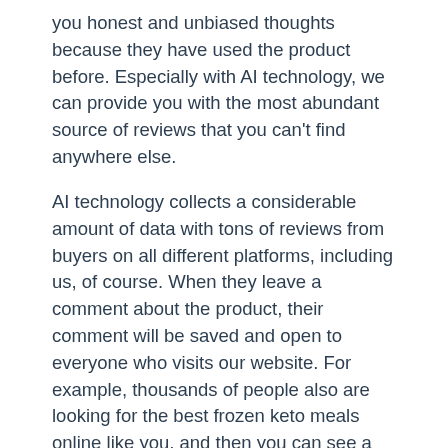you honest and unbiased thoughts because they have used the product before. Especially with AI technology, we can provide you with the most abundant source of reviews that you can't find anywhere else.
AI technology collects a considerable amount of data with tons of reviews from buyers on all different platforms, including us, of course. When they leave a comment about the product, their comment will be saved and open to everyone who visits our website. For example, thousands of people also are looking for the best frozen keto meals online like you, and then you can see a variety of reviews about the product from different brands on our website to consider.
The reviews from reliable sources including Amazon, Google, Yelp, BBB, Yellowpages, etc., so you can feel secure about them. Just take your time to go over